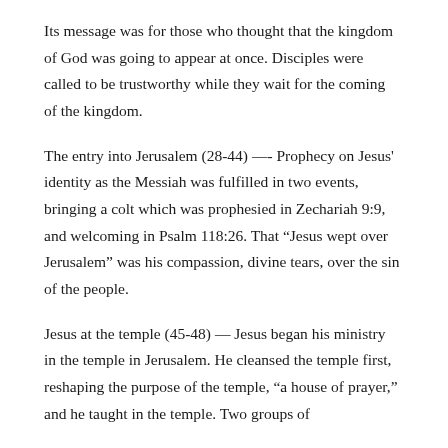Its message was for those who thought that the kingdom of God was going to appear at once. Disciples were called to be trustworthy while they wait for the coming of the kingdom.
The entry into Jerusalem (28-44) —- Prophecy on Jesus' identity as the Messiah was fulfilled in two events, bringing a colt which was prophesied in Zechariah 9:9, and welcoming in Psalm 118:26. That “Jesus wept over Jerusalem” was his compassion, divine tears, over the sin of the people.
Jesus at the temple (45-48) — Jesus began his ministry in the temple in Jerusalem. He cleansed the temple first, reshaping the purpose of the temple, “a house of prayer,” and he taught in the temple. Two groups of